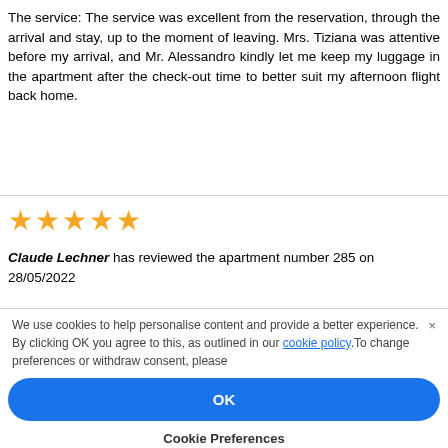The service: The service was excellent from the reservation, through the arrival and stay, up to the moment of leaving. Mrs. Tiziana was attentive before my arrival, and Mr. Alessandro kindly let me keep my luggage in the apartment after the check-out time to better suit my afternoon flight back home.
★★★★★ Claude Lechner has reviewed the apartment number 285 on 28/05/2022
We use cookies to help personalise content and provide a better experience. By clicking OK you agree to this, as outlined in our cookie policy.To change preferences or withdraw consent, please
OK
Cookie Preferences